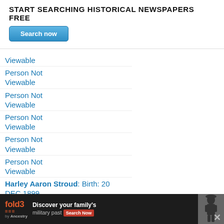START SEARCHING HISTORICAL NEWSPAPERS FREE
[Figure (screenshot): Blue 'Search now' button]
Viewable
Person Not Viewable
Person Not Viewable
Person Not Viewable
Person Not Viewable
Person Not Viewable
Harley Aaron Stroud: Birth: 20 DEC 1899. Death: 7[...] 1953
[Figure (advertisement): fold3 by Ancestry advertisement - Discover your family's military past. Search Now button. Civil War soldier photo.]